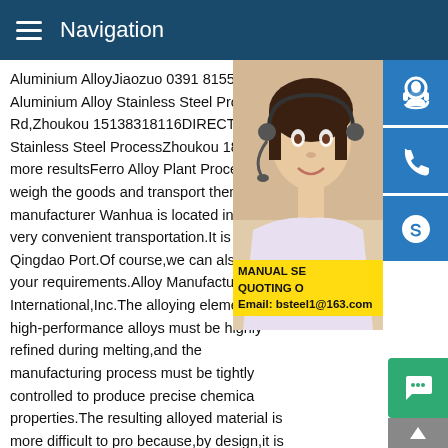Navigation
Aluminium AlloyJiaozuo 0391 8155880DIF Aluminium Alloy Stainless Steel Process1: Rd,Zhoukou 15138318116DIRECTIONSJ Stainless Steel ProcessZhoukou 1827286 more resultsFerro Alloy Plant Process Wanhua weigh the goods and transport them to the manufacturer Wanhua is located in Anyang very convenient transportation.It is close to Qingdao Port.Of course,we can also choo your requirements.Alloy Manufacturing - H International,Inc.The alloying elements in high-performance alloys must be highly refined during melting,and the manufacturing process must be tightly controlled to produce precise chemical properties.The resulting alloyed material is more difficult to process because,by design,it is more resistant to deformation.12345NextFerro Alloy Plant Process Wanhua Me
[Figure (photo): Woman wearing headset, customer service representative photo with blue icon buttons for headset, phone, and Skype on the right side. Yellow overlay band with text MANUAL SE... QUOTING O... Email: bsteel1@163.com]
MANUAL SE
QUOTING O
Email: bsteel1@163.com